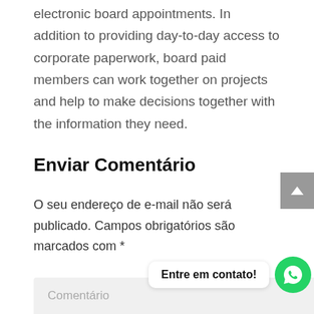electronic board appointments. In addition to providing day-to-day access to corporate paperwork, board paid members can work together on projects and help to make decisions together with the information they need.
Enviar Comentário
O seu endereço de e-mail não será publicado. Campos obrigatórios são marcados com *
Comentário
Entre em contato!